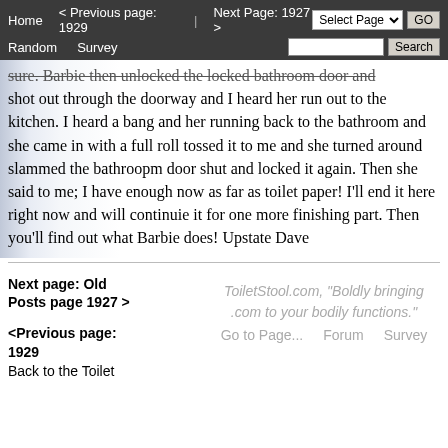Home   < Previous page: 1929   |   Next Page: 1927 >   Random   Survey   Select Page GO   Search
sure. Barbie then unlocked the locked bathroom door and shot out through the doorway and I heard her run out to the kitchen. I heard a bang and her running back to the bathroom and she came in with a full roll tossed it to me and she turned around slammed the bathroopm door shut and locked it again. Then she said to me; I have enough now as far as toilet paper! I'll end it here right now and will continuie it for one more finishing part. Then you'll find out what Barbie does! Upstate Dave
Next page: Old Posts page 1927 >
<Previous page: 1929
Back to the Toilet
ToiletStool.com, "Boldly bringing .com to your bodily functions."
Go to Page...   Forum   Survey